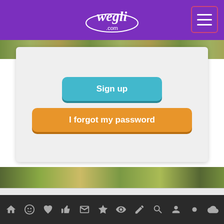[Figure (screenshot): Website header with wegli.com logo on purple background and hamburger menu icon with pink border on the right]
[Figure (screenshot): Gray card panel with teal 'Sign up' button and orange 'I forgot my password' button, on a background showing repeated face photos]
Groups :0
This person has not joined any group.
[Figure (screenshot): Bottom navigation bar with icons: home, smiley, heart, thumbs up, envelope, star, eye, pencil, search, person, burst, cloud]